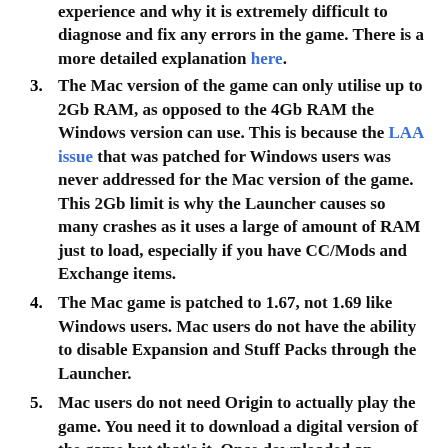experience and why it is extremely difficult to diagnose and fix any errors in the game. There is a more detailed explanation here.
3. The Mac version of the game can only utilise up to 2Gb RAM, as opposed to the 4Gb RAM the Windows version can use. This is because the LAA issue that was patched for Windows users was never addressed for the Mac version of the game. This 2Gb limit is why the Launcher causes so many crashes as it uses a large of amount of RAM just to load, especially if you have CC/Mods and Exchange items.
4. The Mac game is patched to 1.67, not 1.69 like Windows users. Mac users do not have the ability to disable Expansion and Stuff Packs through the Launcher.
5. Mac users do not need Origin to actually play the game. You need it to download a digital version of the game but that's it. Once downloaded an